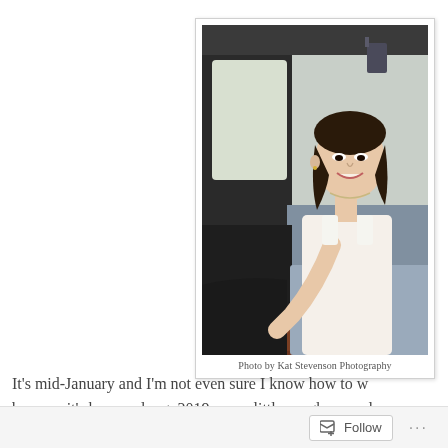[Figure (photo): A smiling Asian woman with shoulder-length dark hair sitting in the driver's seat of a vintage classic car, wearing a white sleeveless top. She has one arm on the steering wheel. The car interior is gray/blue. Photo credit: Kat Stevenson Photography.]
Photo by Kat Stevenson Photography
It's mid-January and I'm not even sure I know how to w because it's been so long. 2019 was a little rough around